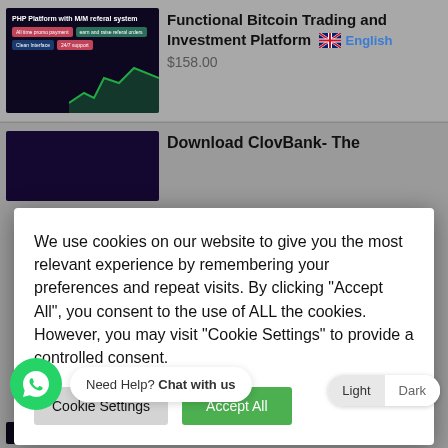[Figure (screenshot): Product thumbnail for Bitcoin trading platform with dark purple/green background]
Functional Bitcoin Trading and Investment Platform
$158.00
[Figure (screenshot): Product thumbnail dark purple background for ClovBank]
Download ClovBank- The
We use cookies on our website to give you the most relevant experience by remembering your preferences and repeat visits. By clicking "Accept All", you consent to the use of ALL the cookies. However, you may visit "Cookie Settings" to provide a controlled consent.
Cookie Settings    Accept All
[Figure (screenshot): Product thumbnail dark background for Deprixa Pro logistics]
Deprixa Pro – Courier & Logistics Tacking Integrated System
7.00
Need Help? Chat with us
Light  Dark
Invest Sanivey1.0 – Ultimate